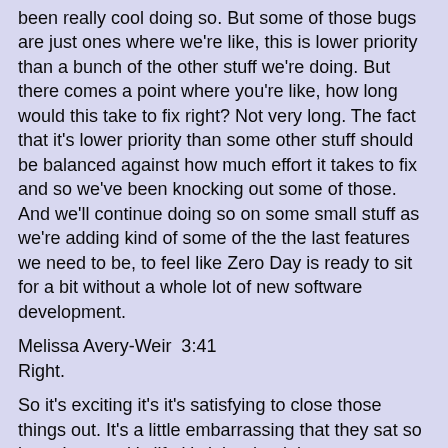been really cool doing so. But some of those bugs are just ones where we're like, this is lower priority than a bunch of the other stuff we're doing. But there comes a point where you're like, how long would this take to fix right? Not very long. The fact that it's lower priority than some other stuff should be balanced against how much effort it takes to fix and so we've been knocking out some of those. And we'll continue doing so on some small stuff as we're adding kind of some of the the last features we need to be, to feel like Zero Day is ready to sit for a bit without a whole lot of new software development.
Melissa Avery-Weir  3:41
Right.
So it's exciting it's it's satisfying to close those things out. It's a little embarrassing that they sat so long. I mean, it's life it's it is what it is.
Gregory Avery-Weir  3:53
We've got day jobs.